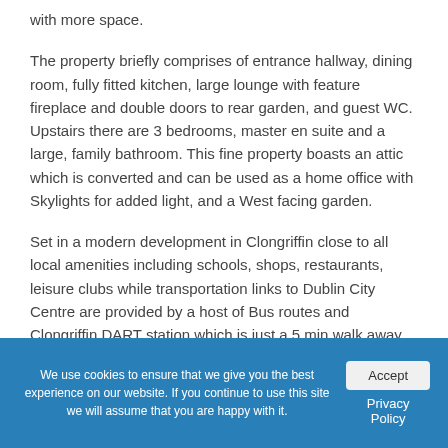with more space.
The property briefly comprises of entrance hallway, dining room, fully fitted kitchen, large lounge with feature fireplace and double doors to rear garden, and guest WC. Upstairs there are 3 bedrooms, master en suite and a large, family bathroom. This fine property boasts an attic which is converted and can be used as a home office with Skylights for added light, and a West facing garden.
Set in a modern development in Clongriffin close to all local amenities including schools, shops, restaurants, leisure clubs while transportation links to Dublin City Centre are provided by a host of Bus routes and Clongriffin DART station which is just a 5 min walk away. There are a
We use cookies to ensure that we give you the best experience on our website. If you continue to use this site we will assume that you are happy with it.